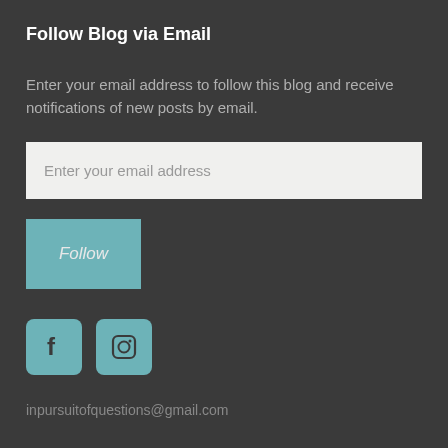Follow Blog via Email
Enter your email address to follow this blog and receive notifications of new posts by email.
[Figure (screenshot): Email input field with placeholder text 'Enter your email address']
[Figure (screenshot): Follow button — teal/muted blue-green rounded rectangle with italic text 'Follow']
[Figure (screenshot): Two social media icons: Facebook (f) and Instagram (camera) with teal rounded square backgrounds]
inpursuitofquestions@gmail.com